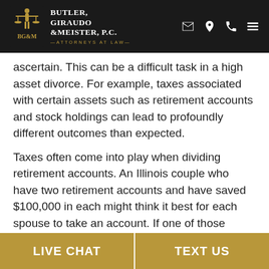Butler, Giraudo & Meister, P.C. — Attorneys at Law
ascertain. This can be a difficult task in a high asset divorce. For example, taxes associated with certain assets such as retirement accounts and stock holdings can lead to profoundly different outcomes than expected.
Taxes often come into play when dividing retirement accounts. An Illinois couple who have two retirement accounts and have saved $100,000 in each might think it best for each spouse to take an account. If one of those accounts is a traditional IRA and the other is a Roth IRA, the spouse who ends up with the Roth account will ultimately come out on top
LIVE CHAT | TEXT US